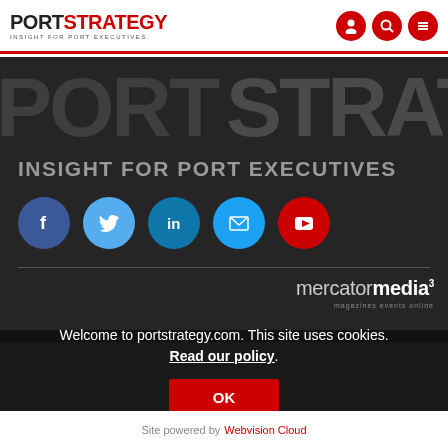PORTSTRATEGY - INSIGHT FOR PORT EXECUTIVES
[Figure (screenshot): PortStrategy website hero banner with large dark background, PORT STRATEGY text, INSIGHT FOR PORT EXECUTIVES tagline, and social media icons (Facebook, Twitter, LinkedIn, Email, YouTube)]
[Figure (logo): mercatormedia3 logo with tagline: magazines events online]
Welcome to portstrategy.com. This site uses cookies. Read our policy.
OK
Site powered by Webvision Cloud